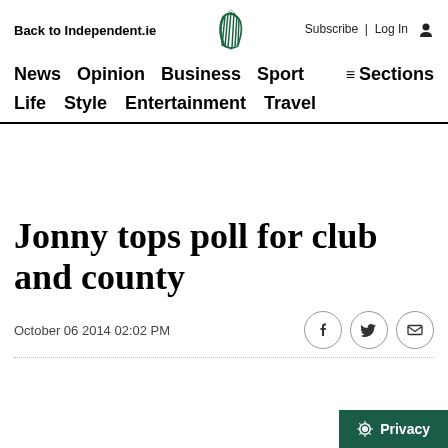Back to Independent.ie | Subscribe | Log In
News  Opinion  Business  Sport  ≡ Sections
Life  Style  Entertainment  Travel
Jonny tops poll for club and county
October 06 2014 02:02 PM